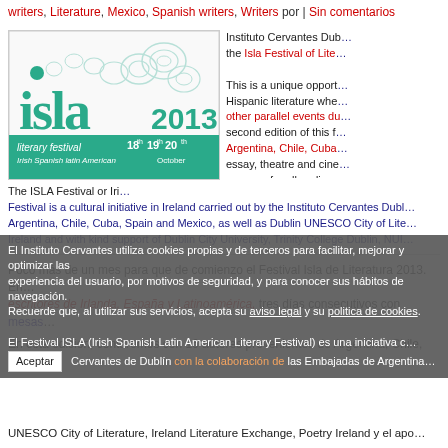writers, Literature, Mexico, Spanish writers, Writers por | Sin comentarios
[Figure (illustration): ISLA 2013 Literary Festival logo — Irish Spanish Latin American — 18th, 19th, 20th October, teal green background with decorative swirls]
Instituto Cervantes Dub... the Isla Festival of Lite...
This is a unique opport... Hispanic literature whe... other parallel events du... second edition of this f... Argentina, Chile, Cuba... essay, theatre and cine... program for all audienc...
The ISLA Festival or Iri... Festival is a cultural initiative in Ireland carried out by the Instituto Cervantes Dubl... Argentina, Chile, Cuba, Spain and Mexico, as well as Dublin UNESCO City of Lite... Ireland and with kind support of Dublin City University, Trinity College Dublin, NUI...
Poco más de un mes para que de comienzo el Festival Isla de Literatura 2013. En... escritores de Irlanda, España y Latinoamérica, tres días consecutivos con mesas...
En esta edición, contaremos con 16 autores provenientes de Argentina, Chile, Cu...
El Instituto Cervantes utiliza cookies propias y de terceros para facilitar, mejorar y optimizar la... experiencia del usuario, por motivos de seguridad, y para conocer sus hábitos de navegación. Recuerde que, al utilizar sus servicios, acepta su aviso legal y su politica de cookies.
El Festival ISLA (Irish Spanish Latin American Literary Festival) es una iniciativa c...
Cervantes de Dublín con la colaboración de las Embajadas de Argentina... UNESCO City of Literature, Ireland Literature Exchange, Poetry Ireland y el apo...